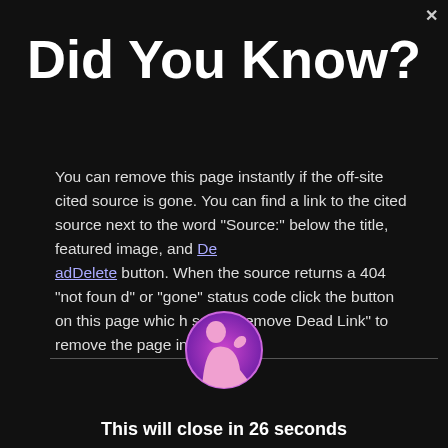Did You Know?
You can remove this page instantly if the off-site cited source is gone. You can find a link to the cited source next to the word "Source:" below the title, featured image, and DeadDelete button. When the source returns a 404 "not found" or "gone" status code click the button on this page which says "Remove Dead Link" to remove the page instantly.
[Figure (illustration): Circular icon with a magenta/pink silhouette of a person on a purple gradient background]
This will close in 26 seconds